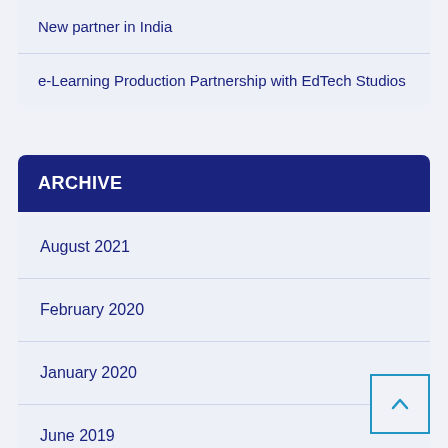New partner in India
e-Learning Production Partnership with EdTech Studios
ARCHIVE
August 2021
February 2020
January 2020
June 2019